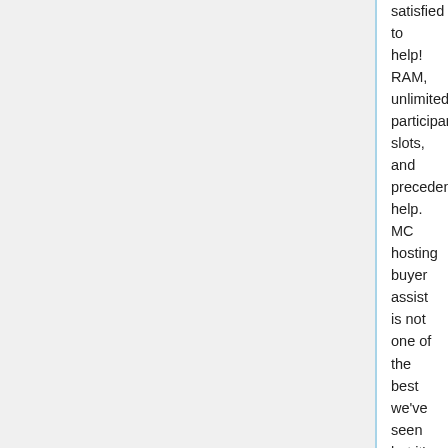satisfied to help! RAM, unlimited participant slots, and precedence help. MC hosting buyer assist is not one of the best we've seen but it's first rate total. It is vital that RIFT distinguishes itself from the rest of the pack not directly, whether it's polish, originality, speed, customer support, or innovation. Move in a pack. For builders, there's no better knowledge pack than Schematica. NodePanel enables you to simply create modded servers, set up modpacks, install plugins, and change configurations (like your whitelist). Go to our modded Minecraft server hosting web page for extra information on supported mods. But in contrast to the others on this list, it affords a free tier, granting entry to fundamental servers, 3GB of RAM, 2x3.4GHz CPU, 30GB SSD storage and